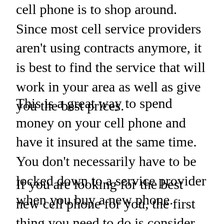cell phone is to shop around. Since most cell service providers aren't using contracts anymore, it is best to find the service that will work in your area as well as give you the best prices.
This is a great way to spend money on your cell phone and have it insured at the same time. You don't necessarily have to be locked down to a service provider when you buy a new phone.
If you are looking for the best new cell phone for you, the first thing you need to do is consider your needs with your new